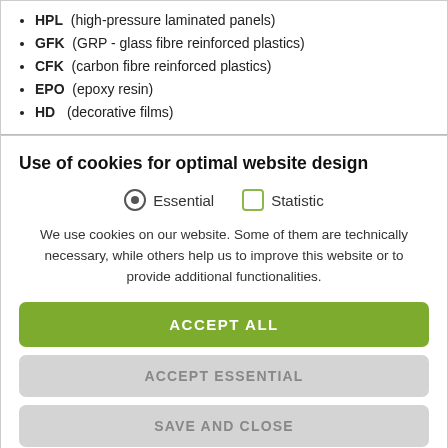HPL  (high-pressure laminated panels)
GFK  (GRP - glass fibre reinforced plastics)
CFK  (carbon fibre reinforced plastics)
EPO  (epoxy resin)
HD   (decorative films)
Use of cookies for optimal website design
Essential  Statistic
We use cookies on our website. Some of them are technically necessary, while others help us to improve this website or to provide additional functionalities.
ACCEPT ALL
ACCEPT ESSENTIAL
SAVE AND CLOSE